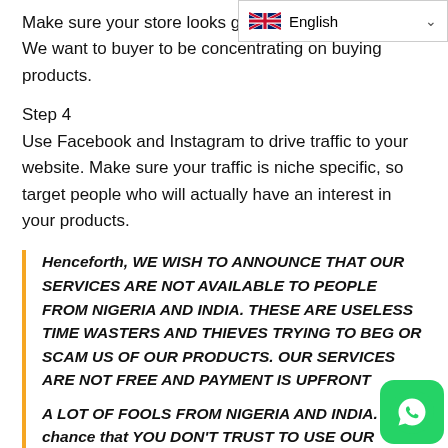[Figure (other): English language selector dropdown with UK flag icon and chevron]
Make sure your store looks good with no distractions. We want to buyer to be concentrating on buying products.
Step 4
Use Facebook and Instagram to drive traffic to your website. Make sure your traffic is niche specific, so target people who will actually have an interest in your products.
Henceforth, WE WISH TO ANNOUNCE THAT OUR SERVICES ARE NOT AVAILABLE TO PEOPLE FROM NIGERIA AND INDIA. THESE ARE USELESS TIME WASTERS AND THIEVES TRYING TO BEG OR SCAM US OF OUR PRODUCTS. OUR SERVICES ARE NOT FREE AND PAYMENT IS UPFRONT
A LOT OF FOOLS FROM NIGERIA AND INDIA. on off chance that YOU DON'T TRUST TO USE OUR
[Figure (other): WhatsApp green button icon in bottom right corner]